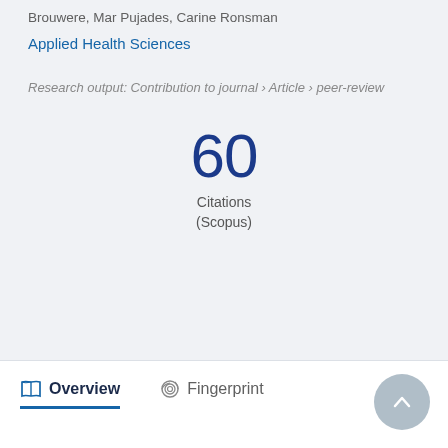Brouwere, Mar Pujades, Carine Ronsman
Applied Health Sciences
Research output: Contribution to journal › Article › peer-review
60
Citations
(Scopus)
Overview   Fingerprint